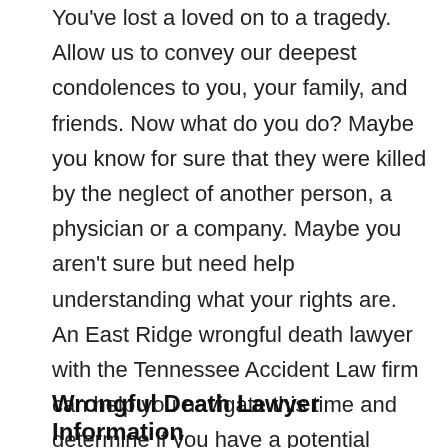You've lost a loved on to a tragedy. Allow us to convey our deepest condolences to you, your family, and friends. Now what do you do? Maybe you know for sure that they were killed by the neglect of another person, a physician or a company. Maybe you aren't sure but need help understanding what your rights are. An East Ridge wrongful death lawyer with the Tennessee Accident Law firm can help you navigate this time and determine if you have a potential wrongful death case.
Wrongful Death Lawyer Information